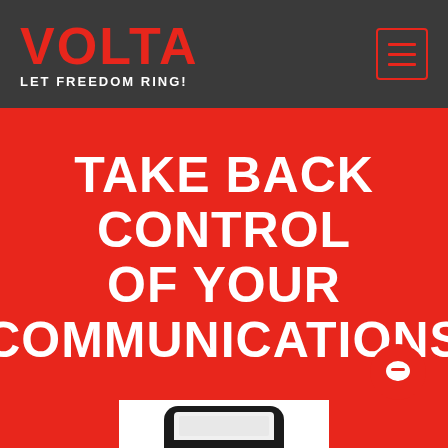[Figure (logo): VOLTA logo in red bold text with tagline 'LET FREEDOM RING!' in white on dark gray header bar]
TAKE BACK CONTROL OF YOUR COMMUNICATIONS
ACT NOW!
[Figure (illustration): Partial view of a smartphone at the bottom of the red hero section]